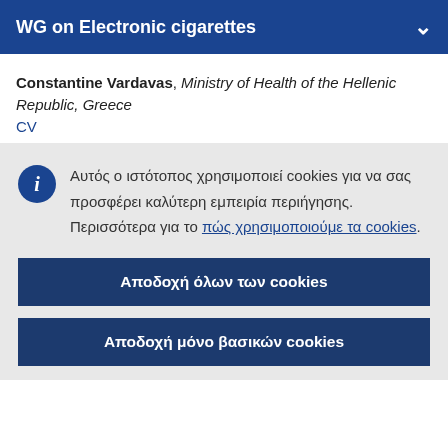WG on Electronic cigarettes
Constantine Vardavas, Ministry of Health of the Hellenic Republic, Greece
CV
Αυτός ο ιστότοπος χρησιμοποιεί cookies για να σας προσφέρει καλύτερη εμπειρία περιήγησης. Περισσότερα για το πώς χρησιμοποιούμε τα cookies.
Αποδοχή όλων των cookies
Αποδοχή μόνο βασικών cookies